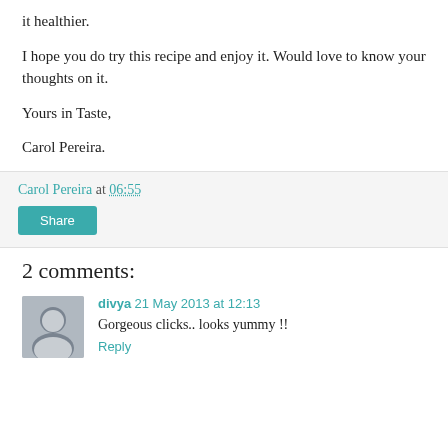it healthier.
I hope you do try this recipe and enjoy it. Would love to know your thoughts on it.
Yours in Taste,
Carol Pereira.
Carol Pereira at 06:55
Share
2 comments:
divya 21 May 2013 at 12:13
Gorgeous clicks.. looks yummy !!
Reply